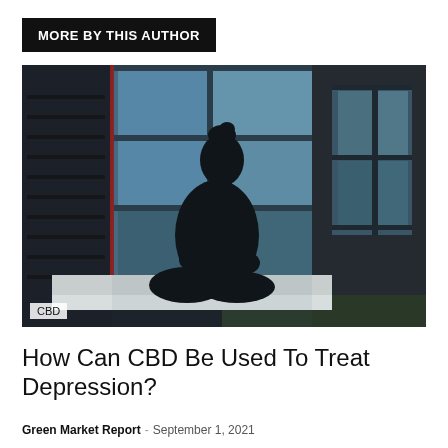MORE BY THIS AUTHOR
[Figure (photo): A person sitting cross-legged in silhouette on a bed near a window in a dark room, moody blue-toned lighting. A 'CBD' label overlay appears at the bottom left of the image.]
How Can CBD Be Used To Treat Depression?
Green Market Report - September 1, 2021